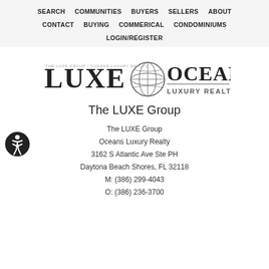SEARCH  COMMUNITIES  BUYERS  SELLERS  ABOUT  CONTACT  BUYING  COMMERICAL  CONDOMINIUMS  LOGIN/REGISTER
[Figure (logo): LUXE Oceans Luxury Realty logo with globe graphic]
The LUXE Group
The LUXE Group
Oceans Luxury Realty
3162 S Atlantic Ave Ste PH
Daytona Beach Shores, FL 32118
M: (386) 299-4043
O: (386) 236-3700